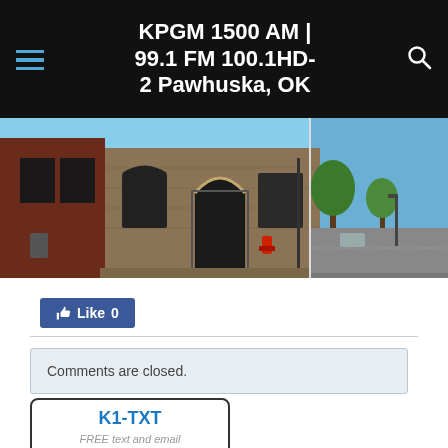KPGM 1500 AM | 99.1 FM 100.1HD-2 Pawhuska, OK
[Figure (photo): Photograph of a historic stone building with arched windows and doorway, street scene with trees visible on the right side]
Like 0
Comments are closed.
K1-TXT FREE text and email BREAKING NEWS & WEATHER